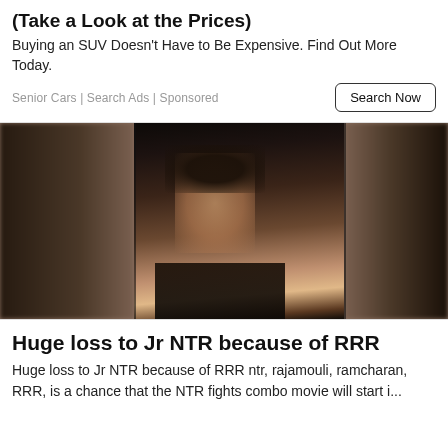(Take a Look at the Prices)
Buying an SUV Doesn't Have to Be Expensive. Find Out More Today.
Senior Cars | Search Ads | Sponsored
[Figure (photo): Portrait photo of a man (Jr NTR) looking serious, wearing a black shirt, with blurred crowd in the background. Image is shown in a filmstrip/collage style with dark vertical bars on left and right.]
Huge loss to Jr NTR because of RRR
Huge loss to Jr NTR because of RRR ntr, rajamouli, ramcharan, RRR, is a chance that the NTR fights combo movie will start i...